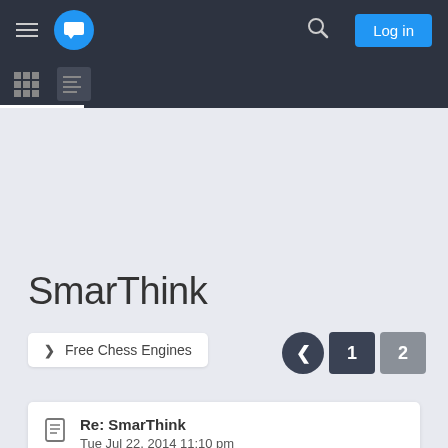Navigation bar with hamburger menu, chat icon, search, Log in button, grid view and list view icons
SmarThink
> Free Chess Engines
< 1 2
Re: SmarThink
Tue Jul 22, 2014 11:10 pm